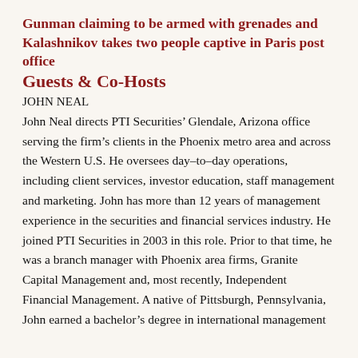Gunman claiming to be armed with grenades and Kalashnikov takes two people captive in Paris post office
Guests & Co-Hosts
JOHN NEAL
John Neal directs PTI Securities' Glendale, Arizona office serving the firm's clients in the Phoenix metro area and across the Western U.S. He oversees day-to-day operations, including client services, investor education, staff management and marketing. John has more than 12 years of management experience in the securities and financial services industry. He joined PTI Securities in 2003 in this role. Prior to that time, he was a branch manager with Phoenix area firms, Granite Capital Management and, most recently, Independent Financial Management. A native of Pittsburgh, Pennsylvania, John earned a bachelor's degree in international management